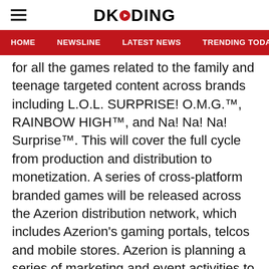DKODING
HOME  NEWSLINE  LATEST NEWS  TRENDING TODAY  ENT
for all the games related to the family and teenage targeted content across brands including L.O.L. SURPRISE! O.M.G.™, RAINBOW HIGH™, and Na! Na! Na! Surprise™. This will cover the full cycle from production and distribution to monetization. A series of cross-platform branded games will be released across the Azerion distribution network, which includes Azerion's gaming portals, telcos and mobile stores. Azerion is planning a series of marketing and event activities to expand the reach of the branded games and engage the fan community.